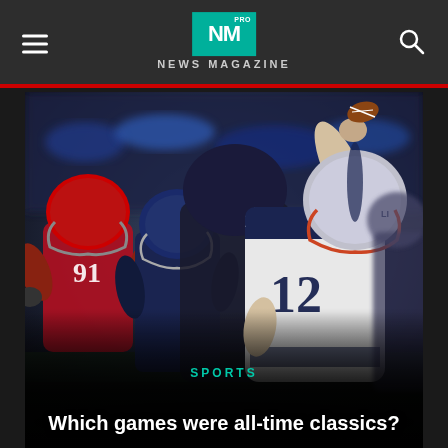NM PRO NEWS MAGAZINE
[Figure (photo): NFL football game action photo: quarterback wearing white jersey number 12 (New England Patriots) throwing a pass, with defensive players in red and navy jerseys in the foreground]
SPORTS
Which games were all-time classics?